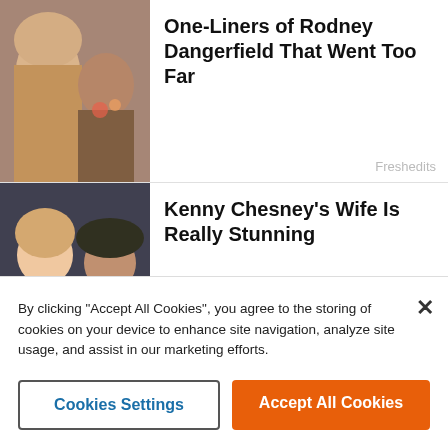[Figure (photo): Photo of Rodney Dangerfield with a blonde woman]
One-Liners of Rodney Dangerfield That Went Too Far
Freshedits
[Figure (photo): Photo of Kenny Chesney with his wife]
Kenny Chesney's Wife Is Really Stunning
Ninjajournalist
[Figure (photo): Photos of 80s fitness stars]
The Most Beautiful 80s Fitness Stars And How They Look Now
Drivepedia
[Figure (photo): Photo related to Blazing Saddles]
Blazing Saddles' Most Loved Line Was Actually A Mistake
Brain-sharper
By clicking “Accept All Cookies”, you agree to the storing of cookies on your device to enhance site navigation, analyze site usage, and assist in our marketing efforts.
Cookies Settings
Accept All Cookies